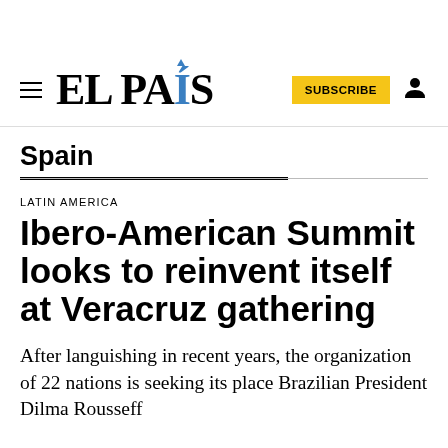EL PAÍS
Spain
LATIN AMERICA
Ibero-American Summit looks to reinvent itself at Veracruz gathering
After languishing in recent years, the organization of 22 nations is seeking its place Brazilian President Dilma Rousseff